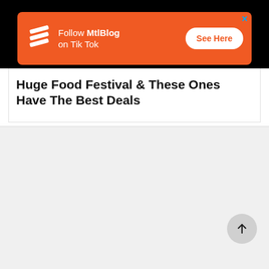[Figure (screenshot): Orange advertisement banner for MtlBlog TikTok with logo, text 'Follow MtlBlog on Tik Tok', and a 'See Here' button on white pill background. Close X button top right.]
Huge Food Festival & These Ones Have The Best Deals
[Figure (screenshot): Gray empty content area below article card, with a circular scroll-to-top button (arrow pointing up) in the bottom right corner.]